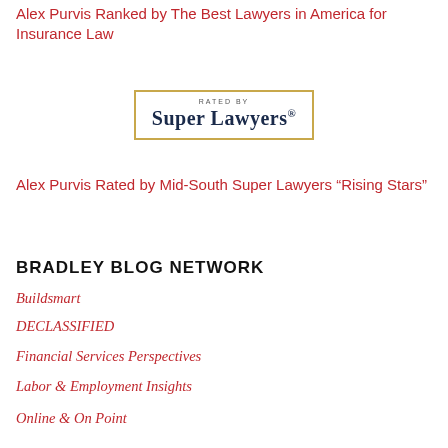Alex Purvis Ranked by The Best Lawyers in America for Insurance Law
[Figure (logo): Super Lawyers badge with gold border reading 'RATED BY Super Lawyers']
Alex Purvis Rated by Mid-South Super Lawyers “Rising Stars”
BRADLEY BLOG NETWORK
Buildsmart
DECLASSIFIED
Financial Services Perspectives
Labor & Employment Insights
Online & On Point